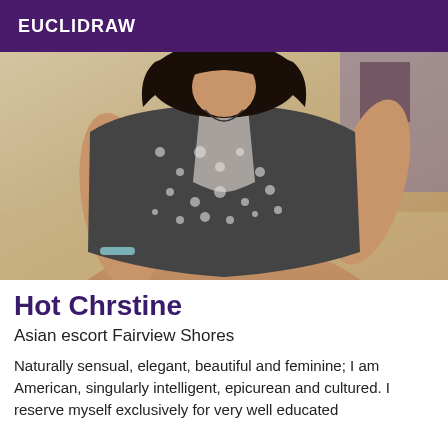EUCLIDRAW
[Figure (photo): A woman taking a selfie wearing a patterned top]
Hot Chrstine
Asian escort Fairview Shores
Naturally sensual, elegant, beautiful and feminine; I am American, singularly intelligent, epicurean and cultured. I reserve myself exclusively for very well educated